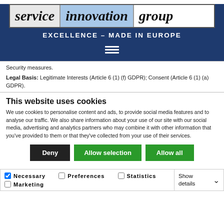[Figure (logo): Service Innovation Group logo with three panels: 'service' on grey, 'innovation' on blue, 'group' on white, all italic bold text. Tagline: 'EXCELLENCE – MADE IN EUROPE' on dark navy background. Hamburger menu icon below.]
Security measures.
Legal Basis: Legitimate Interests (Article 6 (1) (f) GDPR); Consent (Article 6 (1) (a) GDPR).
This website uses cookies
We use cookies to personalise content and ads, to provide social media features and to analyse our traffic. We also share information about your use of our site with our social media, advertising and analytics partners who may combine it with other information that you've provided to them or that they've collected from your use of their services.
Deny | Allow selection | Allow all
Necessary (checked) | Preferences | Statistics | Show details ∨
Marketing